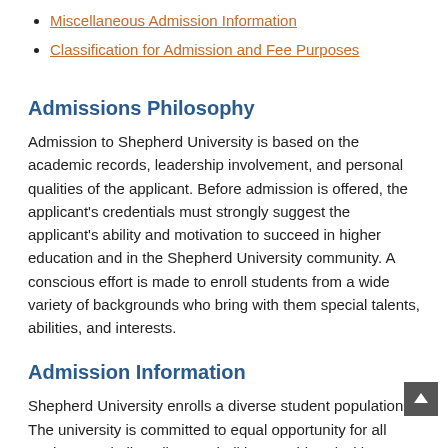Miscellaneous Admission Information
Classification for Admission and Fee Purposes
Admissions Philosophy
Admission to Shepherd University is based on the academic records, leadership involvement, and personal qualities of the applicant. Before admission is offered, the applicant's credentials must strongly suggest the applicant's ability and motivation to succeed in higher education and in the Shepherd University community. A conscious effort is made to enroll students from a wide variety of backgrounds who bring with them special talents, abilities, and interests.
Admission Information
Shepherd University enrolls a diverse student population. The university is committed to equal opportunity for all students and all applicants shall be considered without regard to national origin, race, color, age, religion, gender, sexual preference/orientation,